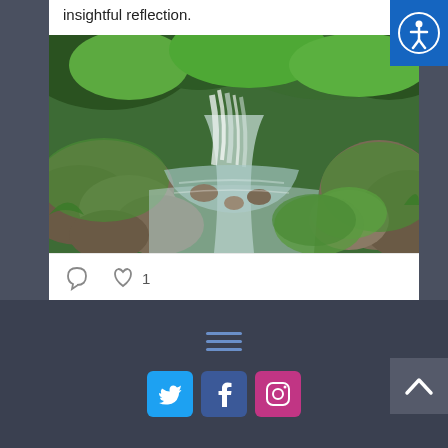insightful reflection.
[Figure (photo): A lush green forest waterfall scene with mossy rocks and a clear stream flowing through.]
[Figure (infographic): Social media post interaction icons: comment bubble and heart with count 1]
Transforming ministry
[Figure (logo): Accessibility icon button (person in circle) in blue]
[Figure (infographic): Hamburger menu icon with three horizontal blue lines]
[Figure (infographic): Social media icons row: Twitter (blue), Facebook (blue), Instagram (pink/purple)]